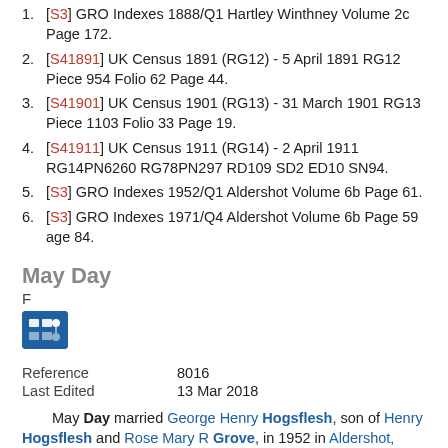1. [S3] GRO Indexes 1888/Q1 Hartley Winthney Volume 2c Page 172.
2. [S41891] UK Census 1891 (RG12) - 5 April 1891 RG12 Piece 954 Folio 62 Page 44.
3. [S41901] UK Census 1901 (RG13) - 31 March 1901 RG13 Piece 1103 Folio 33 Page 19.
4. [S41911] UK Census 1911 (RG14) - 2 April 1911 RG14PN6260 RG78PN297 RD109 SD2 ED10 SN94.
5. [S3] GRO Indexes 1952/Q1 Aldershot Volume 6b Page 61.
6. [S3] GRO Indexes 1971/Q4 Aldershot Volume 6b Page 59 age 84.
May Day
F
[Figure (other): Blue icon button with grid/network symbol]
| Field | Value |
| --- | --- |
| Reference | 8016 |
| Last Edited | 13 Mar 2018 |
May Day married George Henry Hogsflesh, son of Henry Hogsflesh and Rose Mary R Grove, in 1952 in Aldershot, Hampshire, England.1
Family	George Henry Hogsflesh b. 11 Dec